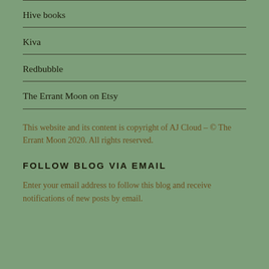Hive books
Kiva
Redbubble
The Errant Moon on Etsy
This website and its content is copyright of AJ Cloud – © The Errant Moon 2020. All rights reserved.
FOLLOW BLOG VIA EMAIL
Enter your email address to follow this blog and receive notifications of new posts by email.